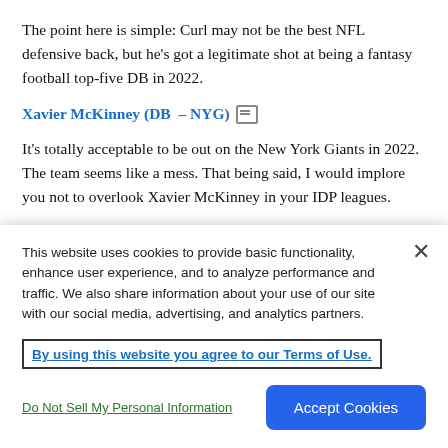The point here is simple: Curl may not be the best NFL defensive back, but he's got a legitimate shot at being a fantasy football top-five DB in 2022.
Xavier McKinney (DB – NYG)
It's totally acceptable to be out on the New York Giants in 2022. The team seems like a mess. That being said, I would implore you not to overlook Xavier McKinney in your IDP leagues.
After his rookie season was cut short due to a broken foot
This website uses cookies to provide basic functionality, enhance user experience, and to analyze performance and traffic. We also share information about your use of our site with our social media, advertising, and analytics partners.
By using this website you agree to our Terms of Use.
Do Not Sell My Personal Information
Accept Cookies